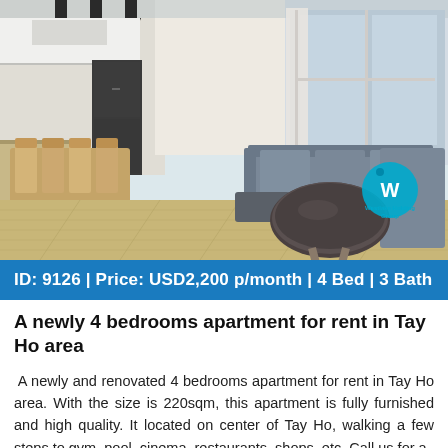[Figure (photo): Interior photo of a modern furnished apartment showing living room with gray L-shaped sofa, marble coffee table, wood floors, open kitchen and dining area with wooden chairs, large windows with white curtains, and Westlake Holding Group logo overlay.]
ID: 9126 | Price: USD2,200 p/month | 4 Bed | 3 Bath
A newly 4 bedrooms apartment for rent in Tay Ho area
A newly and renovated 4 bedrooms apartment for rent in Tay Ho area. With the size is 220sqm, this apartment is fully furnished and high quality. It located on center of Tay Ho, walking a few steps to gym, pool, cinema, restaurants, shops, etc. Call us for a
View detail